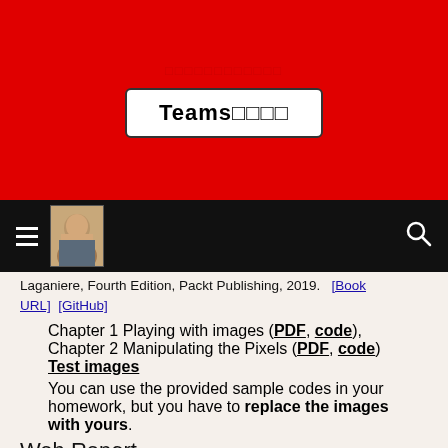[Figure (screenshot): Red banner with garbled Japanese/unicode text and a white box labeled 'Teams□□□□']
[Figure (screenshot): Black navigation bar with hamburger menu, avatar photo, and search icon]
Laganiere, Fourth Edition, Packt Publishing, 2019. [Book URL] [GitHub]
Chapter 1 Playing with images (PDF, code), Chapter 2 Manipulating the Pixels (PDF, code)
Test images
You can use the provided sample codes in your homework, but you have to replace the images with yours.
Web Report